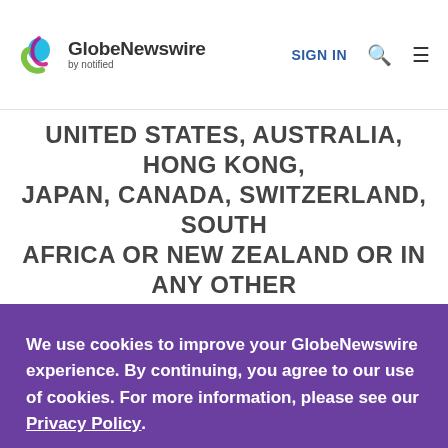GlobeNewswire by notified | SIGN IN
UNITED STATES, AUSTRALIA, HONG KONG, JAPAN, CANADA, SWITZERLAND, SOUTH AFRICA OR NEW ZEALAND OR IN ANY OTHER JURISDICTION WHERE THE DISTRIBUTION OR...
We use cookies to improve your GlobeNewswire experience. By continuing, you agree to our use of cookies. For more information, please see our Privacy Policy.
ACCEPT